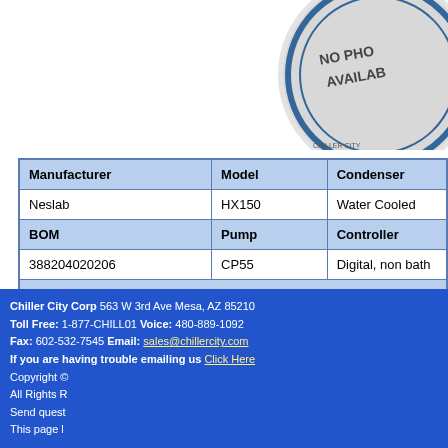[Figure (logo): Circular logo/badge with text 'NO PHOTO AVAILABLE' overlaid on a Chiller City branding seal]
| Manufacturer | Model | Condenser |
| --- | --- | --- |
| Neslab | HX150 | Water Cooled |
| BOM | Pump | Controller |
| 388204020206 | CP55 | Digital, non bath |
| Comment |  |  |
| 10064124 HX 150, |  |  |
Go Back to Inventory Search Results
Chiller City Corp 563 W 3rd Ave Mesa, AZ 85210 | Toll Free: 1-877-CHILL01 Voice: 480-889-1092 | Fax: 602-532-7545 Email: sales@chillercity.com | If you are having trouble emailing us Click Here | Copyright © | All Rights R... | Send quest... | This page l...